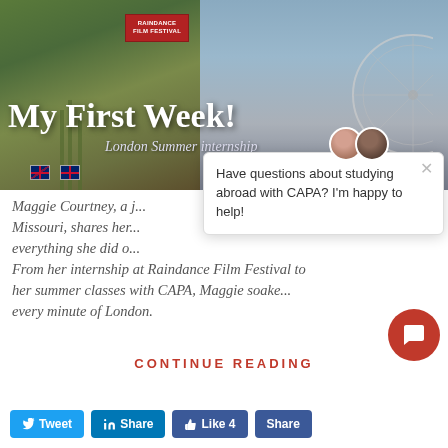[Figure (photo): Hero image showing London landmarks including the Raindance Film Festival sign, Union Jack flags lining a street, and the London Eye ferris wheel. Overlaid text reads 'My First Week!' and 'London Summer internship']
My First Week!
London Summer internship
[Figure (screenshot): Chat popup with two avatar portraits. Text reads: Have questions about studying abroad with CAPA? I'm happy to help!]
Maggie Courtney, a j... Missouri, shares her... everything she did o... From her internship at Raindance Film Festival to her summer classes with CAPA, Maggie soake... every minute of London.
CONTINUE READING
Tweet  Share  Like 4  Share